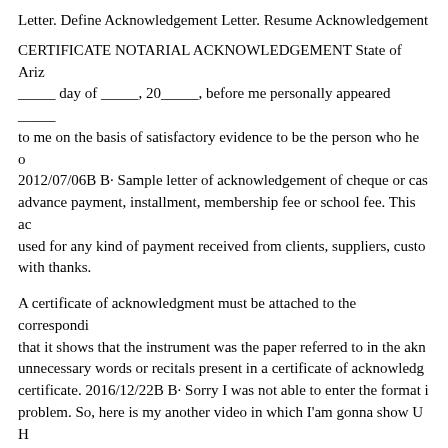Letter. Define Acknowledgement Letter. Resume Acknowledgement
CERTIFICATE NOTARIAL ACKNOWLEDGEMENT State of Ariz_____ day of _____, 20_____, before me personally appeared _____ to me on the basis of satisfactory evidence to be the person who he o 2012/07/06B B· Sample letter of acknowledgement of cheque or cash advance payment, installment, membership fee or school fee. This ac used for any kind of payment received from clients, suppliers, custo with thanks.
A certificate of acknowledgment must be attached to the correspondi that it shows that the instrument was the paper referred to in the akn unnecessary words or recitals present in a certificate of acknowledg certificate. 2016/12/22B B· Sorry I was not able to enter the format i problem. So, here is my another video in which I'am gonna show U H Acknowledgement and вЋ¦
2012/08/06B B· One should also ensure that acknowledgement letter professional yet courteous approach without being much verbose. Sa